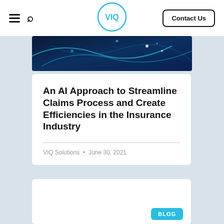VIQ Solutions · Contact Us
[Figure (photo): Dark blue technology background with glowing abstract network lines and light dots]
An AI Approach to Streamline Claims Process and Create Efficiencies in the Insurance Industry
VIQ Solutions • June 30, 2021
BLOG